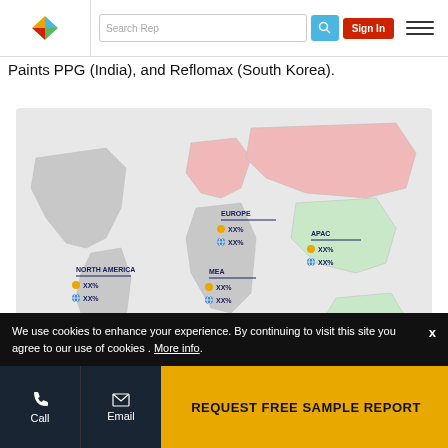Search Rep | Sign In
Paints PPG (India), and Reflomax (South Korea).
[Figure (map): World map showing regional market data for NORTH AMERICA, EUROPE, APAC, MEA, and LATIN AMERICA. Each region shows two values (XX%) with yellow circle and globe icon indicators. Values are redacted (shown as XX%).]
We use cookies to enhance your experience. By continuing to visit this site you agree to our use of cookies . More info.
Call | Email | REQUEST FREE SAMPLE REPORT